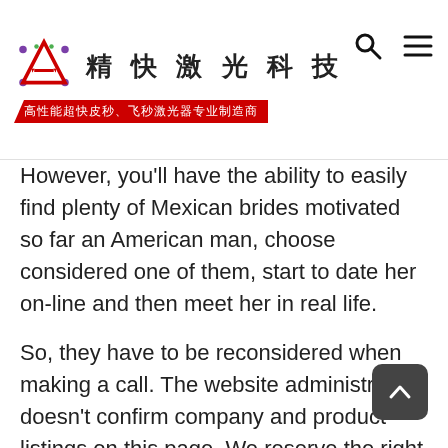精快激光科技 — 高性能超快皮秒、飞秒激光器专业制造商
However, you'll have the ability to easily find plenty of Mexican brides motivated so far an American man, choose considered one of them, start to date her on-line and then meet her in real life.
So, they have to be reconsidered when making a call. The website administration doesn't confirm company and product listings on this page. We reserve the right to vary any information that seems on this website at any moment.
They have great tanned skin, gorgeous, silky hair, and stylish figures. The variety is outstanding – yow will discover a girl that might perfectly match your